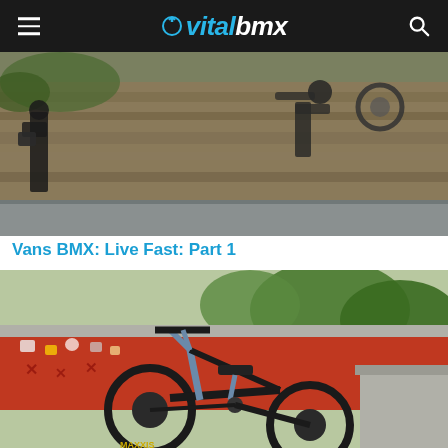vitalbmx
[Figure (photo): BMX rider performing a trick at a skate park, flying over a concrete wall with rocky hillside behind]
Vans BMX: Live Fast: Part 1
[Figure (photo): Black BMX bike with Maxxis tires parked at a skate park with red graffiti-covered concrete walls and greenery in background]